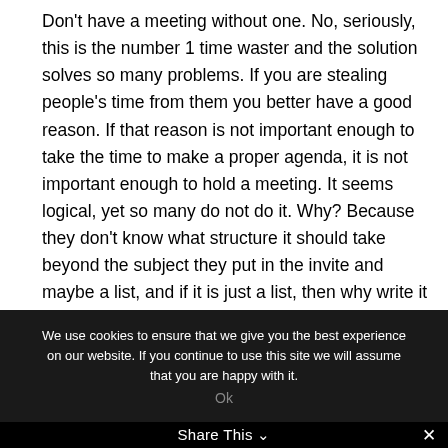Don't have a meeting without one. No, seriously, this is the number 1 time waster and the solution solves so many problems. If you are stealing people's time from them you better have a good reason. If that reason is not important enough to take the time to make a proper agenda, it is not important enough to hold a meeting. It seems logical, yet so many do not do it. Why? Because they don't know what structure it should take beyond the subject they put in the invite and maybe a list, and if it is just a list, then why write it down? Surely I
We use cookies to ensure that we give you the best experience on our website. If you continue to use this site we will assume that you are happy with it.
Ok
Share This ∨